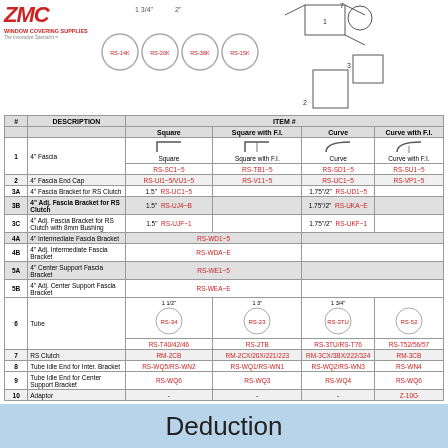[Figure (illustration): ZMC Window Covering Supplies logo and product diagram showing fascia components with tube sizes RS-14K, RS-20K, RS-38K, RS-15K labeled with measurements 1-3/4" and 2", and an exploded view of bracket components numbered 1-7]
| # | DESCRIPTION | ITEM # |
| --- | --- | --- |
| 1 | 4" Fascia | Square RS-SC1~5 | Square with F.I. RS-TB1~5 | Curve RS-SD1~5 | Curve with F.I. RS-SU1~5 |
| 2 | 4" Fascia End Cap | RS-UI1~5/VU1~5 | RS-V11~5 | RS-UC1~5 | RS-VP1~5 |
| 3A | 4" Fascia Bracket for RS Clutch | 1.5" RS-UC1~5 | 1.75"/2" RS-UD1~5 |
| 3B | 4" Adj. Fascia Bracket for RS Clutch | 1.5" RS-UJ4~B | 1.75"/2" RS-UKA~E |
| 3C | 4" Adj. Fascia Bracket for RS Clutch with 8mm Bushing | 1.5" RS-UJF~1 | 1.75"/2" RS-UKF~1 |
| 4A | 4" Intermediate Fascia Bracket | RS-WD1~5 |
| 4B | 4" Adj. Intermediate Fascia Bracket | RS-WDA~E |
| 5A | 4" Center Support Fascia Bracket | RS-WE1~5 |
| 5B | 4" Adj. Center Support Fascia Bracket | RS-WEA~E |
| 6 | Tube | 1-1/2" RS-T40/42/46 | 1-3" RS-2TB | 1-3/4" RS-3TU/RS-T76 | RS-T52/56/57 |
| 7 | RS Clutch | RM-2CB | RM-2CX/20X/221/223 | RM-3CX/3BX/222/324 | RM-3CB |
| 8 | Tube Idle End for Inter. Bracket | RS-WQ5/RS-WN2 | RS-WQ1/RS-WN1 | RS-WQ2/RS-WN3 | RS-WN4 |
| 9 | Tube Idle End for Center Support Bracket | RS-WQ6 | RS-WQ3 | RS-WQ4 | RS-WQ6 |
| 10 | Adaptor | - | - | - | Z-10G |
Deduction